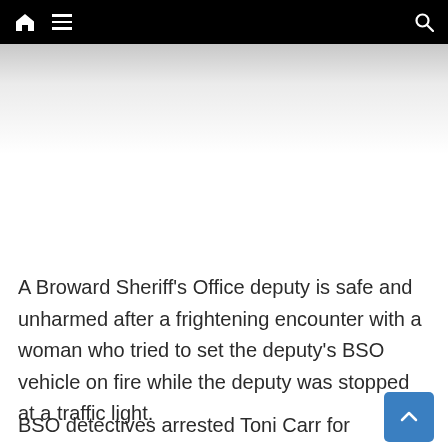Navigation bar with home icon, menu icon, and search icon
[Figure (other): Advertisement or image placeholder area below navigation bar]
A Broward Sheriff's Office deputy is safe and unharmed after a frightening encounter with a woman who tried to set the deputy's BSO vehicle on fire while the deputy was stopped at a traffic light.
BSO detectives arrested Toni Carr for the incident that